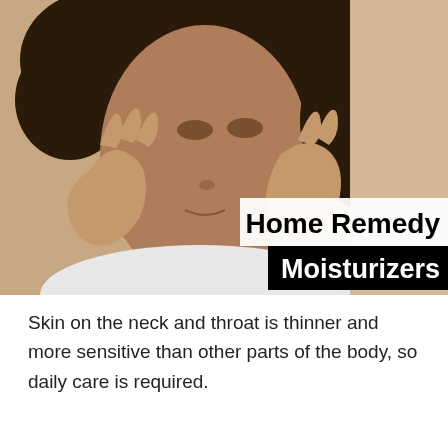[Figure (photo): A young person with natural curly hair holding their face in both hands, looking upward thoughtfully. Text overlay reads 'Home Remedy Moisturizers' with white background on first line and black background on second line.]
Home Remedy Moisturizers
Skin on the neck and throat is thinner and more sensitive than other parts of the body, so daily care is required.